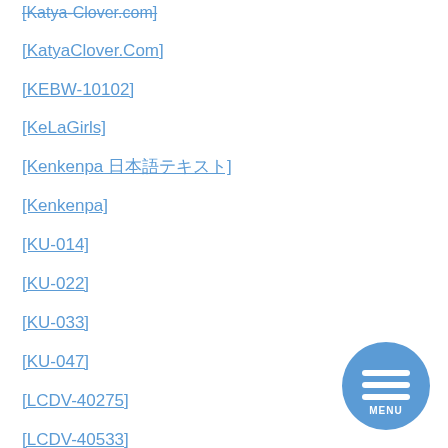[KatyaClover.Com]
[KEBW-10102]
[KeLaGirls]
[Kenkenpa 日本語]
[Kenkenpa]
[KU-014]
[KU-022]
[KU-033]
[KU-047]
[LCDV-40275]
[LCDV-40533]
[LCDV-40534]
[Figure (other): Circular blue MENU button with three horizontal white lines (hamburger icon) and the word MENU below]